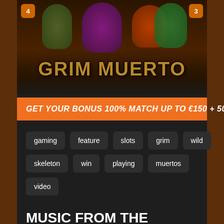[Figure (screenshot): Grim Muerto slot game screenshot showing colorful skulls and characters with the game title in golden stylized text]
GET YOUR BONUS 100% MATCH UP TO €150 + 50 F…
gaming
feature
slots
grim
wild
skeleton
win
playing
muertos
video
MUSIC FROM THE AFTERWORLD
Grim Muerto slot will charm many gamblers with its beautiful colorful and funny visual design depicting all those skulls, skeletons, and Mexican patterns